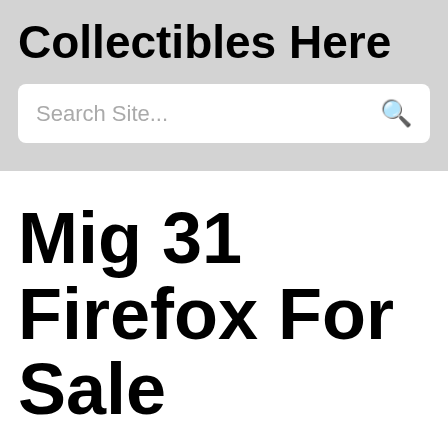Collectibles Here
Search Site...
Mig 31 Firefox For Sale